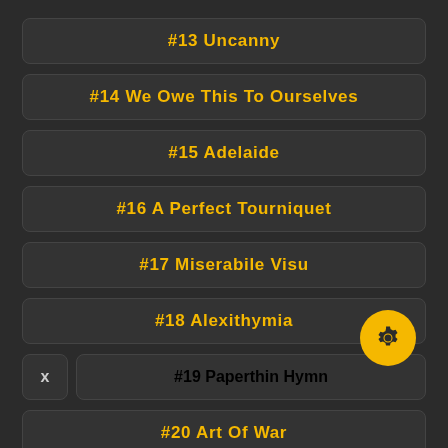#13 Uncanny
#14 We Owe This To Ourselves
#15 Adelaide
#16 A Perfect Tourniquet
#17 Miserabile Visu
#18 Alexithymia
#19 Paperthin Hymn
#20 Art Of War